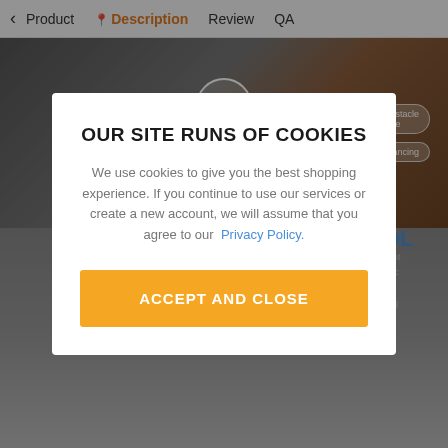< Product  Description  Review  QA
[Figure (screenshot): Background screenshot of a robot toy product page showing a white/blue humanoid robot with feature labels 'Patrol and Obstacle Avoidance' and 'Singing and Dancing', with a circular X close button overlay at the top center]
OUR SITE RUNS OF COOKIES
We use cookies to give you the best shopping experience. If you continue to use our services or create a new account, we will assume that you agree to our  Privacy Policy.
ACCEPT AND CLOSE